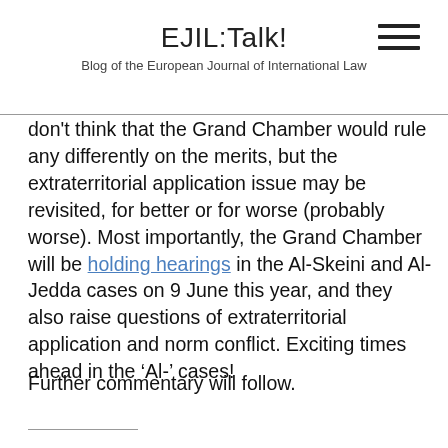EJIL:Talk!
Blog of the European Journal of International Law
don't think that the Grand Chamber would rule any differently on the merits, but the extraterritorial application issue may be revisited, for better or for worse (probably worse). Most importantly, the Grand Chamber will be holding hearings in the Al-Skeini and Al-Jedda cases on 9 June this year, and they also raise questions of extraterritorial application and norm conflict. Exciting times ahead in the ‘Al-’ cases!
Further commentary will follow.